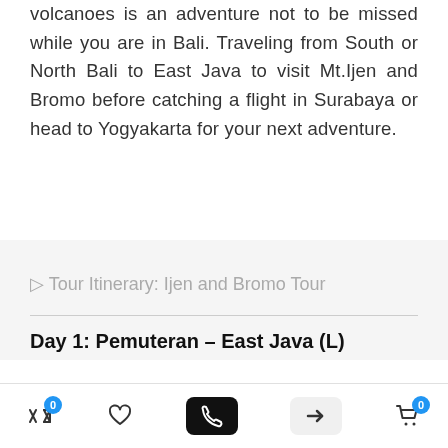volcanoes is an adventure not to be missed while you are in Bali. Traveling from South or North Bali to East Java to visit Mt.Ijen and Bromo before catching a flight in Surabaya or head to Yogyakarta for your next adventure.
▷ Tour Itinerary: Ijen and Bromo Tour
Day 1: Pemuteran – East Java (L)